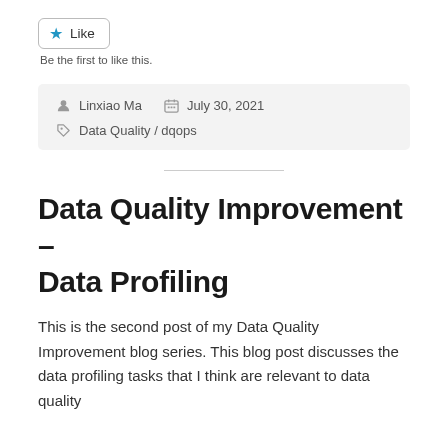[Figure (other): Like button with a blue star icon and the text 'Like']
Be the first to like this.
Linxiao Ma   July 30, 2021   Data Quality / dqops
Data Quality Improvement – Data Profiling
This is the second post of my Data Quality Improvement blog series. This blog post discusses the data profiling tasks that I think are relevant to data quality